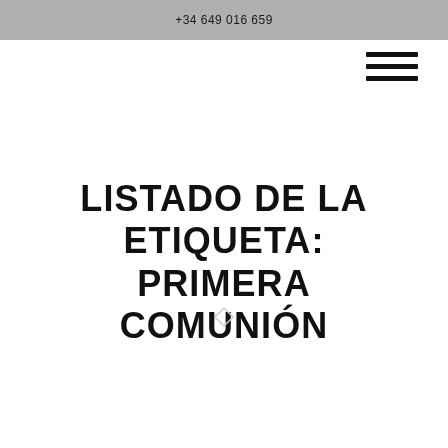+34 649 016 659
LISTADO DE LA ETIQUETA: PRIMERA COMUNIÓN